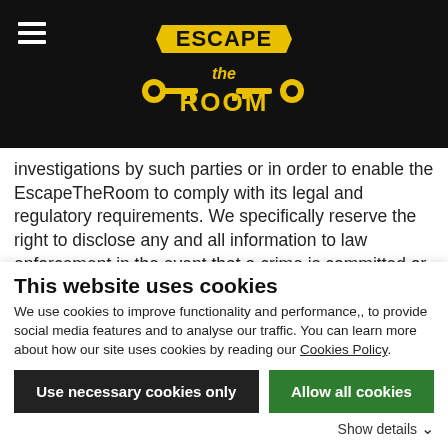[Figure (logo): Escape the Room logo in yellow on black background with hamburger menu icon]
investigations by such parties or in order to enable the EscapeTheRoom to comply with its legal and regulatory requirements. We specifically reserve the right to disclose any and all information to law enforcement in the event that a crime is committed or suspected or detected or if we are compelled to do so by lawful criminal, civil or administrative
This website uses cookies
We use cookies to improve functionality and performance,, to provide social media features and to analyse our traffic. You can learn more about how our site uses cookies by reading our Cookies Policy.
Use necessary cookies only
Allow all cookies
Show details